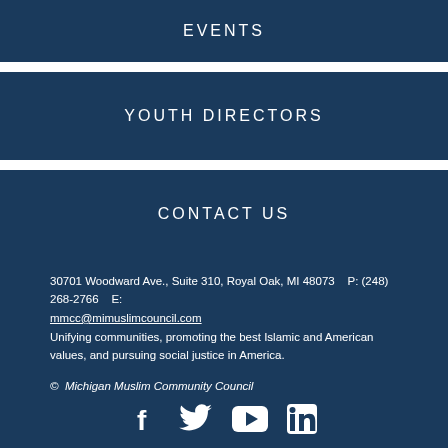EVENTS
YOUTH DIRECTORS
CONTACT US
30701 Woodward Ave., Suite 310, Royal Oak, MI 48073    P: (248) 268-2766    E: mmcc@mimuslimcouncil.com
Unifying communities, promoting the best Islamic and American values, and pursuing social justice in America.
©  Michigan Muslim Community Council
[Figure (other): Social media icons: Facebook, Twitter, YouTube, LinkedIn]